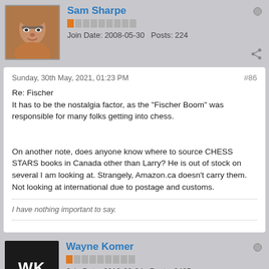Sam Sharpe
Join Date: 2008-05-30   Posts: 224
Sunday, 30th May, 2021, 01:23 PM
#86
Re: Fischer
It has to be the nostalgia factor, as the "Fischer Boom" was responsible for many folks getting into chess.

On another note, does anyone know where to source CHESS STARS books in Canada other than Larry? He is out of stock on several I am looking at. Strangely, Amazon.ca doesn't carry them. Not looking at international due to postage and customs.
I have nothing important to say.
Wayne Komer
Join Date: 2010-03-04   Posts: 6425